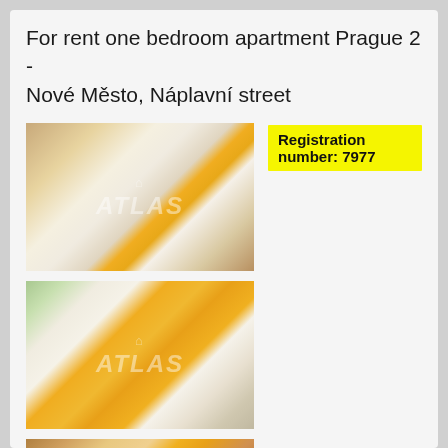For rent one bedroom apartment Prague 2 - Nové Město, Náplavní street
Registration number: 7977
[Figure (photo): Interior photo of modern apartment living area with white kitchen cabinets, yellow cabinet accents, and hardwood floor. ATLAS watermark visible.]
[Figure (photo): Interior photo of modern kitchen with yellow upper cabinet fronts, white lower cabinets, built-in oven and appliances. ATLAS watermark visible.]
[Figure (photo): Partial interior photo of apartment, bottom portion visible. ATLAS watermark visible.]